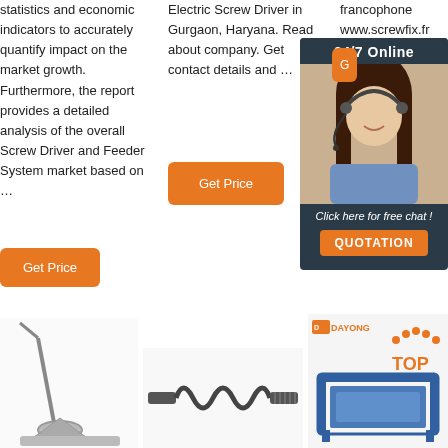statistics and economic indicators to accurately quantify impact on the market growth. Furthermore, the report provides a detailed analysis of the overall Screw Driver and Feeder System market based on …
Electric Screw Driver in Gurgaon, Haryana. Read about company. Get contact details and …
francophone www.screwfix.fr
[Figure (photo): Customer service representative with headset, 24/7 Online chat widget with QUOTATION button]
[Figure (photo): Screw feeder machine illustration]
[Figure (photo): Coil spring with shaft component]
[Figure (photo): DAYONG branded industrial machine with TOP label]